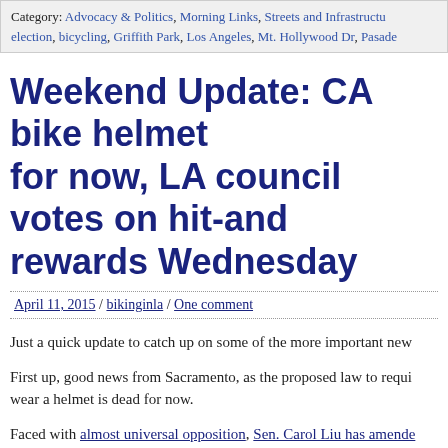Category: Advocacy & Politics, Morning Links, Streets and Infrastructure, election, bicycling, Griffith Park, Los Angeles, Mt. Hollywood Dr, Pasadena
Weekend Update: CA bike helmet law dead for now, LA council votes on hit-and-run rewards Wednesday
April 11, 2015 / bikinginla / One comment
Just a quick update to catch up on some of the more important news
First up, good news from Sacramento, as the proposed law to require everyone to wear a helmet is dead for now.
Faced with almost universal opposition, Sen. Carol Liu has amended the bill to require a study of bike helmet use instead. Also gone is the silly requirement for riders to wear reflective hi-viz after dark, which would have criminalized wearing normal street clothes during the winter months.
Let's hope the study, if the revised bill is passed, goes beyond the studies we usually see on the subject. And considers not just whether a bike ri